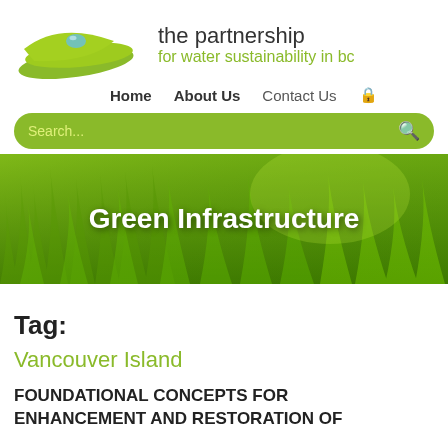[Figure (logo): Partnership for Water Sustainability in BC logo — green leaf shapes with a water droplet, beside the organization name]
the partnership for water sustainability in bc
Home   About Us   Contact Us
Search...
[Figure (photo): Hero banner photograph of green grass/vegetation with overlaid text 'Green Infrastructure']
Green Infrastructure
Tag:
Vancouver Island
FOUNDATIONAL CONCEPTS FOR ENHANCEMENT AND RESTORATION OF